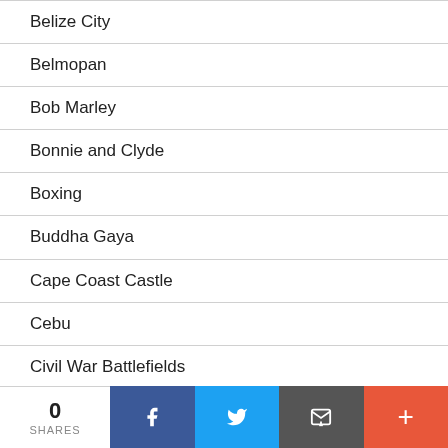Belize City
Belmopan
Bob Marley
Bonnie and Clyde
Boxing
Buddha Gaya
Cape Coast Castle
Cebu
Civil War Battlefields
Clovis
0 SHARES | Facebook | Twitter | Email | More